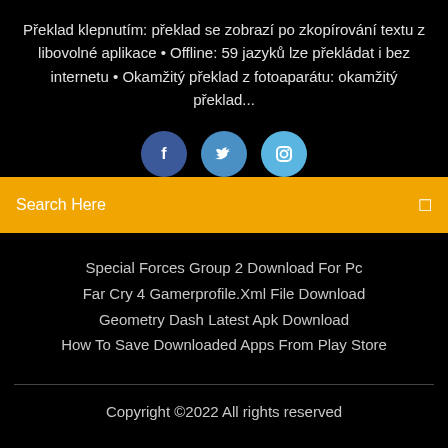Překlad klepnutím: překlad se zobrazí po zkopírování textu z libovolné aplikace • Offline: 59 jazyků lze překládat i bez internetu • Okamžitý překlad z fotoaparátu: okamžitý překlad...
[Figure (other): Three social media icon circles: Facebook (dark blue), Twitter (medium blue), Instagram (light blue)]
Search Here
Special Forces Group 2 Download For Pc
Far Cry 4 Gamerprofile.Xml File Download
Geometry Dash Latest Apk Download
How To Save Downloaded Apps From Play Store
Copyright ©2022 All rights reserved